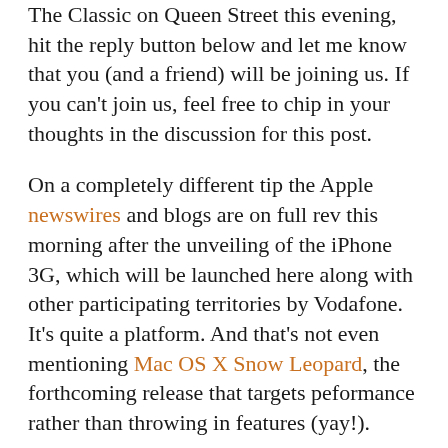The Classic on Queen Street this evening, hit the reply button below and let me know that you (and a friend) will be joining us. If you can't join us, feel free to chip in your thoughts in the discussion for this post.
On a completely different tip the Apple newswires and blogs are on full rev this morning after the unveiling of the iPhone 3G, which will be launched here along with other participating territories by Vodafone. It's quite a platform. And that's not even mentioning Mac OS X Snow Leopard, the forthcoming release that targets peformance rather than throwing in features (yay!).
With impeccable timing, the excellent Mark Webster has begun writing a new blog, MacPlanet, for the Herald website. He'll be rounding up the iPhone and other WWDC news today.